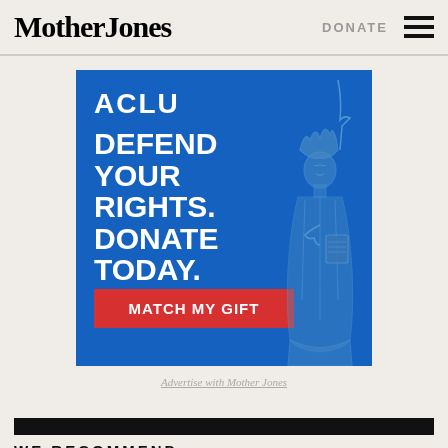Mother Jones   DONATE
[Figure (illustration): ACLU advertisement banner on blue background with Statue of Liberty illustration. Text reads: ACLU DEFEND YOUR RIGHTS. DONATE TODAY. With a red button: MATCH MY GIFT]
Advertise with Mother Jones
WE RECOMMEND